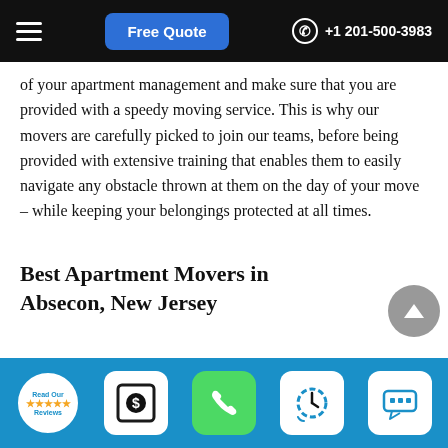Free Quote  +1 201-500-3983
of your apartment management and make sure that you are provided with a speedy moving service. This is why our movers are carefully picked to join our teams, before being provided with extensive training that enables them to easily navigate any obstacle thrown at them on the day of your move – while keeping your belongings protected at all times.
Best Apartment Movers in Absecon, New Jersey
Stairs, tight corners and narrow hallways are never an issue with our competent moving crews – they have